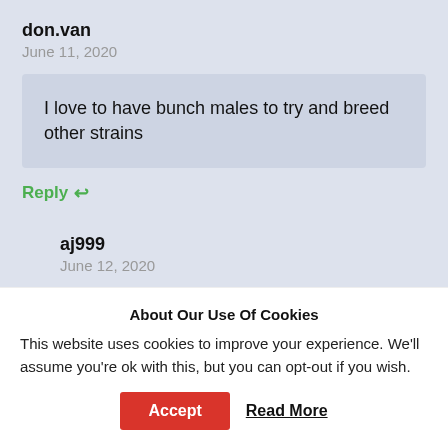don.van
June 11, 2020
I love to have bunch males to try and breed other strains
Reply ↩
aj999
June 12, 2020
About Our Use Of Cookies
This website uses cookies to improve your experience. We'll assume you're ok with this, but you can opt-out if you wish.
Accept
Read More